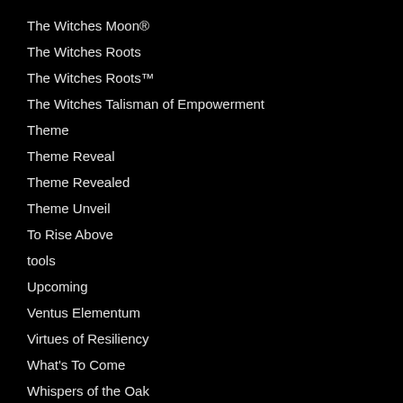The Witches Moon®
The Witches Roots
The Witches Roots™
The Witches Talisman of Empowerment
Theme
Theme Reveal
Theme Revealed
Theme Unveil
To Rise Above
tools
Upcoming
Ventus Elementum
Virtues of Resiliency
What's To Come
Whispers of the Oak
wildmoon
Wings of Isis
Wisdom of Lemuria